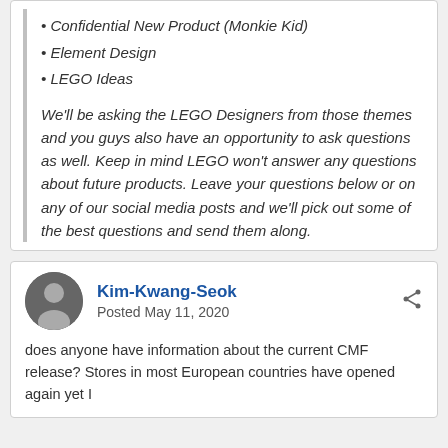• Confidential New Product (Monkie Kid)
• Element Design
• LEGO Ideas
We'll be asking the LEGO Designers from those themes and you guys also have an opportunity to ask questions as well. Keep in mind LEGO won't answer any questions about future products. Leave your questions below or on any of our social media posts and we'll pick out some of the best questions and send them along.
Kim-Kwang-Seok
Posted May 11, 2020
does anyone have information about the current CMF release? Stores in most European countries have opened again yet I